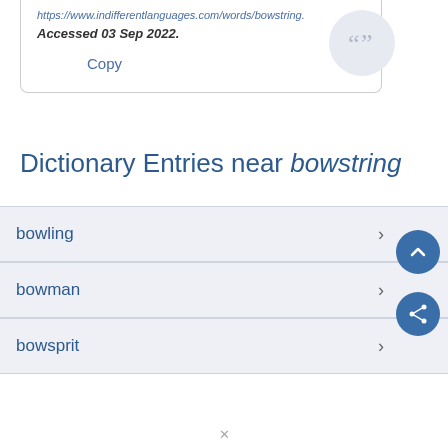https://www.indifferentlanguages.com/words/bowstring. Accessed 03 Sep 2022.
Copy
Dictionary Entries near bowstring
bowling
bowman
bowsprit